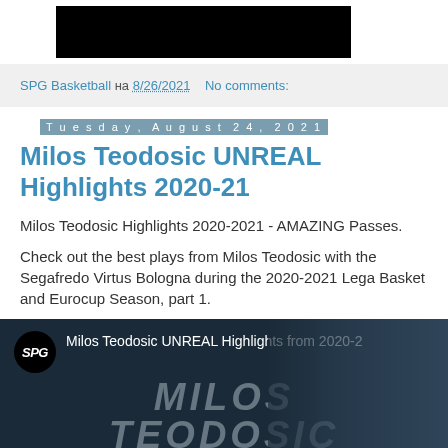[Figure (screenshot): Black rectangle image thumbnail at the top]
SPG Basketball на 8/26/2021   No comments:
Tuesday, August 24, 2021
Milos Teodosic UNREAL Highlights 2020-21
Milos Teodosic Highlights 2020-2021 - AMAZING Passes.
Check out the best plays from Milos Teodosic with the Segafredo Virtus Bologna during the 2020-2021 Lega Basket and Eurocup Season, part 1.
[Figure (screenshot): Video thumbnail showing SPG logo and text 'Milos Teodosic UNREAL Highlights from 2020-2' with MILOS TEODOSIC watermark text and person in background]